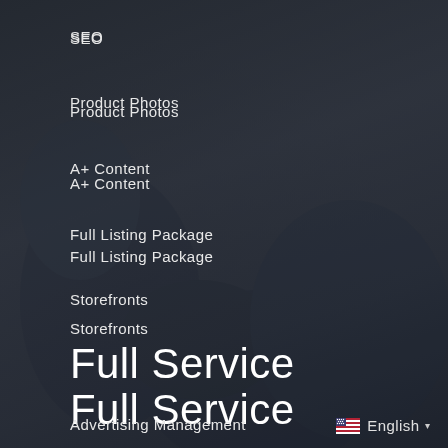SEO
Product Photos
A+ Content
Full Listing Package
Storefronts
Full Service
Advertising Management
Content Services
Inventory Management
Marketing & Promotional Strategy
Reporting
English ▾